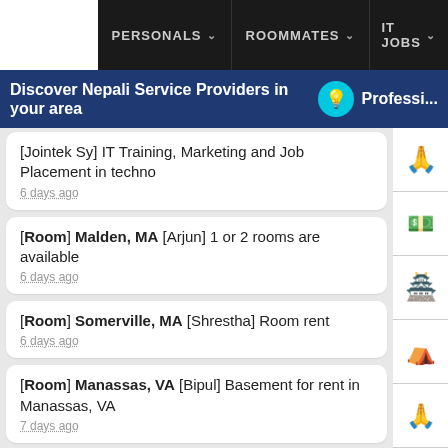PERSONALS ∨   ROOMMATES ∨   IT JOBS ∨
Discover Nepali Service Providers in your area   Professi...
[Jointek Sy] IT Training, Marketing and Job Placement in techno — 6 days ago
[Room] Malden, MA [Arjun] 1 or 2 rooms are available — 6 days ago
[Room] Somerville, MA [Shrestha] Room rent — 6 days ago
[Room] Manassas, VA [Bipul] Basement for rent in Manassas, VA — 7 days ago
[Temporay Housing] Santa Clara, CA [santosh] ...mate/apartment — 7 days ago